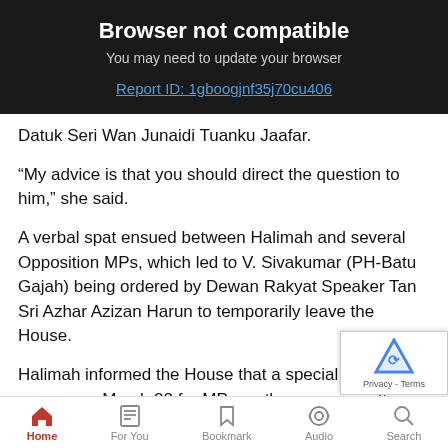[Figure (screenshot): Browser not compatible banner with dark background showing title 'Browser not compatible', subtitle 'You may need to update your browser', and a report ID link.]
Datuk Seri Wan Junaidi Tuanku Jaafar.
“My advice is that you should direct the question to him,” she said.
A verbal spat ensued between Halimah and several Opposition MPs, which led to V. Sivakumar (PH-Batu Gajah) being ordered by Dewan Rakyat Speaker Tan Sri Azhar Azizan Harun to temporarily leave the House.
Halimah informed the House that a special briefing wi... on March 22 for MPs on the government’s action plan... Indian community.
Home | For You | Bookmark | Audio | Search